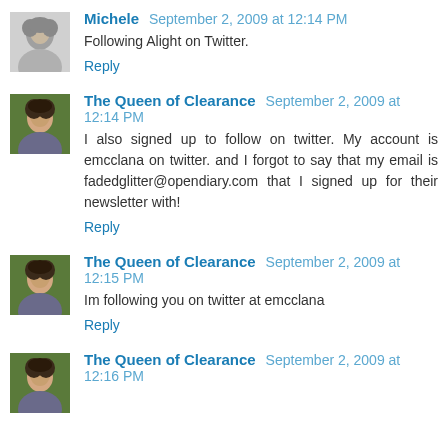Michele  September 2, 2009 at 12:14 PM
Following Alight on Twitter.
Reply
The Queen of Clearance  September 2, 2009 at 12:14 PM
I also signed up to follow on twitter. My account is emcclana on twitter. and I forgot to say that my email is fadedglitter@opendiary.com that I signed up for their newsletter with!
Reply
The Queen of Clearance  September 2, 2009 at 12:15 PM
Im following you on twitter at emcclana
Reply
The Queen of Clearance  September 2, 2009 at 12:16 PM